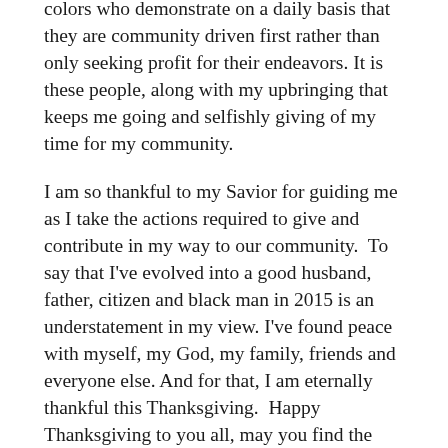colors who demonstrate on a daily basis that they are community driven first rather than only seeking profit for their endeavors. It is these people, along with my upbringing that keeps me going and selfishly giving of my time for my community.
I am so thankful to my Savior for guiding me as I take the actions required to give and contribute in my way to our community.  To say that I've evolved into a good husband, father, citizen and black man in 2015 is an understatement in my view. I've found peace with myself, my God, my family, friends and everyone else. And for that, I am eternally thankful this Thanksgiving.  Happy Thanksgiving to you all, may you find the same type of contentment in your life.
Peace, make it a day in which Jesus Christ would be proud of you,